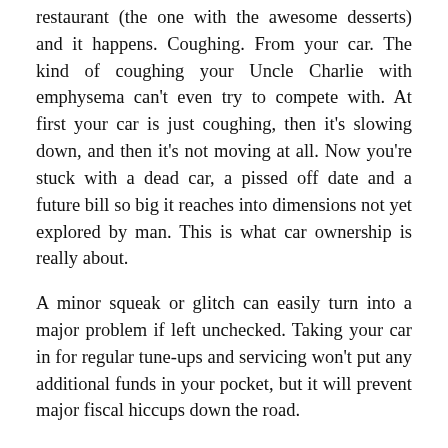restaurant (the one with the awesome desserts) and it happens. Coughing. From your car. The kind of coughing your Uncle Charlie with emphysema can't even try to compete with. At first your car is just coughing, then it's slowing down, and then it's not moving at all. Now you're stuck with a dead car, a pissed off date and a future bill so big it reaches into dimensions not yet explored by man. This is what car ownership is really about.
A minor squeak or glitch can easily turn into a major problem if left unchecked. Taking your car in for regular tune-ups and servicing won't put any additional funds in your pocket, but it will prevent major fiscal hiccups down the road.
Extra Credit: Slow your roll there, bud. Car insurance is going to cost you too. Shmoop gives you the skinny on